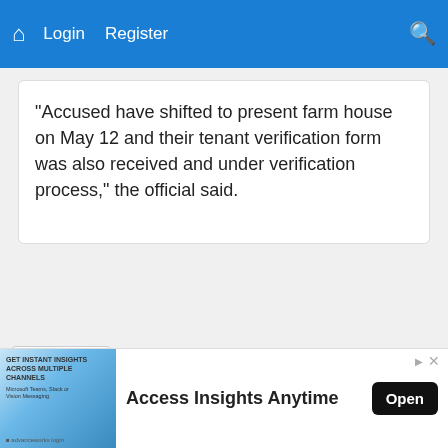Login   Register
"Accused have shifted to present farm house on May 12 and their tenant verification form was also received and under verification process," the official said.
[Figure (screenshot): Collapse/chevron button with down arrow]
[Figure (infographic): Advertisement banner: GET INSTANT INSIGHTS ACROSS MULTIPLE CHANNELS — Access Insights Anytime — Open button]